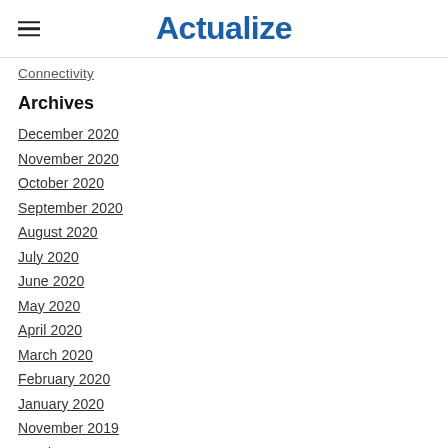Actualize
Connectivity
Archives
December 2020
November 2020
October 2020
September 2020
August 2020
July 2020
June 2020
May 2020
April 2020
March 2020
February 2020
January 2020
November 2019
October 2019